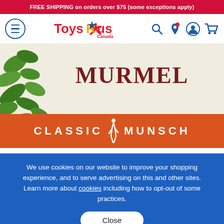FREE SHIPPING on orders over $75 (some exceptions apply)
[Figure (logo): Toys R Us Canada logo with hamburger menu, search, location, account, and cart icons]
[Figure (photo): Book cover showing 'MURMEL' text and 'CLASSIC MUNSCH' banner with green leaves]
We use cookies on our website to improve your shopping experience, and to serve advertising on this and other sites. Learn more about cookies including how to opt-out of some practices.
Close